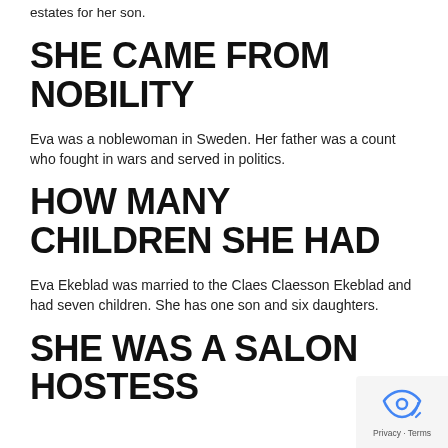estates for her son.
SHE CAME FROM NOBILITY
Eva was a noblewoman in Sweden. Her father was a count who fought in wars and served in politics.
HOW MANY CHILDREN SHE HAD
Eva Ekeblad was married to the Claes Claesson Ekeblad and had seven children. She has one son and six daughters.
SHE WAS A SALON HOSTESS